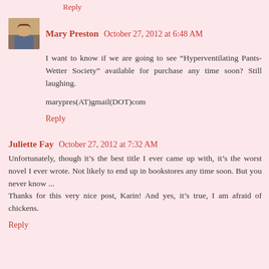Reply
Mary Preston  October 27, 2012 at 6:48 AM
I want to know if we are going to see “Hyperventilating Pants-Wetter Society” available for purchase any time soon? Still laughing.

marypres(AT)gmail(DOT)com
Reply
Juliette Fay  October 27, 2012 at 7:32 AM
Unfortunately, though it’s the best title I ever came up with, it’s the worst novel I ever wrote. Not likely to end up in bookstores any time soon. But you never know ...
Thanks for this very nice post, Karin! And yes, it’s true, I am afraid of chickens.
Reply